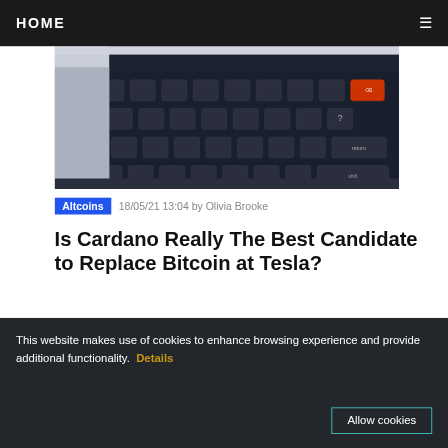HOME
[Figure (photo): Close-up photo of a dark laptop keyboard with backlit keys, showing keys like command, shift, return, and question mark.]
Altcoins   18/05/21 13:04 by Olivia Brooke
Is Cardano Really The Best Candidate to Replace Bitcoin at Tesla?
Last week, cryptocurrency users watched the market decline severely after Elon Musk announced that Tesla has shut down Bitcoin payments in the meantime, until "mining transitions to more sustai…
Read More
This website makes use of cookies to enhance browsing experience and provide additional functionality. Details
Allow cookies